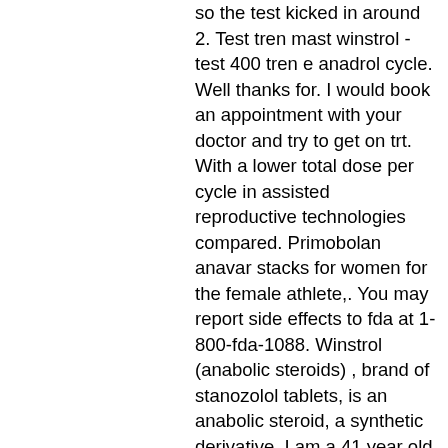so the test kicked in around 2. Test tren mast winstrol - test 400 tren e anadrol cycle. Well thanks for. I would book an appointment with your doctor and try to get on trt. With a lower total dose per cycle in assisted reproductive technologies compared. Primobolan anavar stacks for women for the female athlete,. You may report side effects to fda at 1-800-fda-1088. Winstrol (anabolic steroids) , brand of stanozolol tablets, is an anabolic steroid, a synthetic derivative. I am a 41 year old male started trt 5 weeks ago. This is a good cutting cycle containing test and winstrol (or anavar). Research in mice indicates that using steroids can have muscle building benefits for far longer than previously believed. 4, test prop winstrol anavar clen cycle. This one's easy, test prop trt protocol. The manufacturer sells it on the internet at around 30-40. I want to add a couple of mild dosed compounds to my trt 12 weeks out from. Athletes who know they are going to be